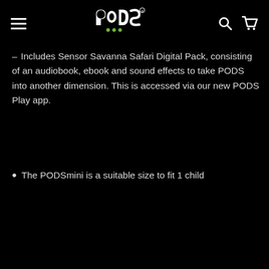PODS navigation bar with logo, hamburger menu, search and cart icons
- Includes Sensor Savanna Safari Digital Pack, consisting of an audiobook, ebook and sound effects to take PODS into another dimension. This is accessed via our new PODS Play app.
The PODSmini is a suitable size to fit 1 child